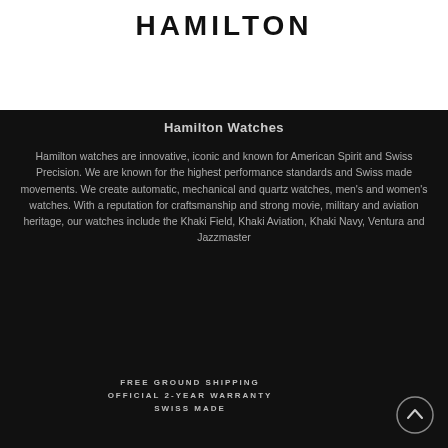HAMILTON
Hamilton Watches
Hamilton watches are innovative, iconic and known for American Spirit and Swiss Precision. We are known for the highest performance standards and Swiss made movements. We create automatic, mechanical and quartz watches, men's and women's watches. With a reputation for craftsmanship and strong movie, military and aviation heritage, our watches include the Khaki Field, Khaki Aviation, Khaki Navy, Ventura and Jazzmaster
FREE GROUND SHIPPING
OFFICIAL 2-YEAR WARRANTY
SWISS MADE